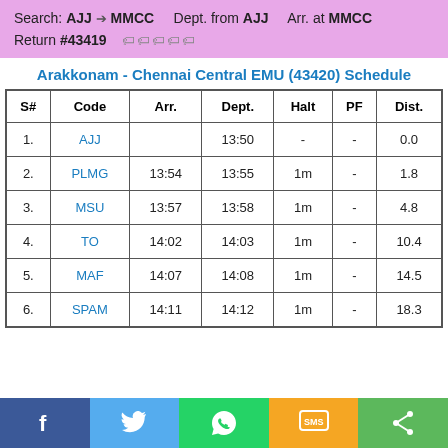Search: AJJ → MMCC   Dept. from AJJ   Arr. at MMCC
Return #43419   🏷🏷🏷🏷🏷
Arakkonam - Chennai Central EMU (43420) Schedule
| S# | Code | Arr. | Dept. | Halt | PF | Dist. |
| --- | --- | --- | --- | --- | --- | --- |
| 1. | AJJ |  | 13:50 | - | - | 0.0 |
| 2. | PLMG | 13:54 | 13:55 | 1m | - | 1.8 |
| 3. | MSU | 13:57 | 13:58 | 1m | - | 4.8 |
| 4. | TO | 14:02 | 14:03 | 1m | - | 10.4 |
| 5. | MAF | 14:07 | 14:08 | 1m | - | 14.5 |
| 6. | SPAM | 14:11 | 14:12 | 1m | - | 18.3 |